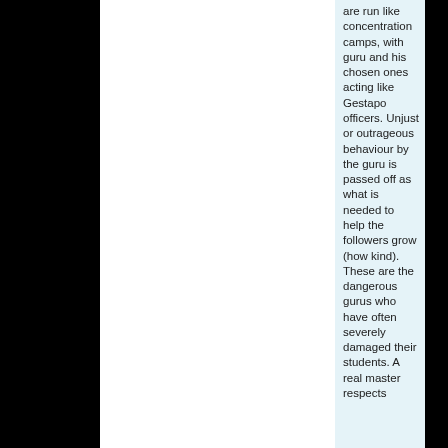are run like concentration camps, with guru and his chosen ones acting like Gestapo officers. Unjust or outrageous behaviour by the guru is passed off as what is needed to help the followers grow (how kind). These are the dangerous gurus who have often severely damaged their students. A real master respects